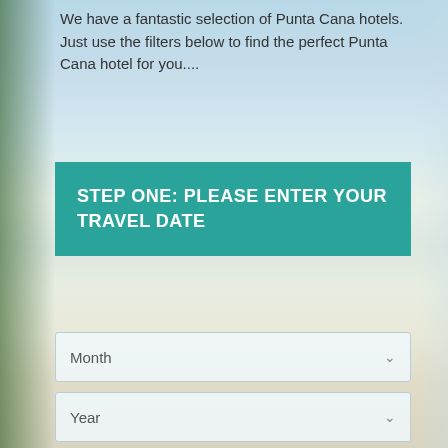We have a fantastic selection of Punta Cana hotels. Just use the filters below to find the perfect Punta Cana hotel for you....
STEP ONE: PLEASE ENTER YOUR TRAVEL DATE
[Figure (screenshot): Dropdown selector labeled Month with chevron arrow]
[Figure (screenshot): Dropdown selector labeled Year with chevron arrow]
[Figure (screenshot): Dropdown selector labeled Duration with chevron arrow]